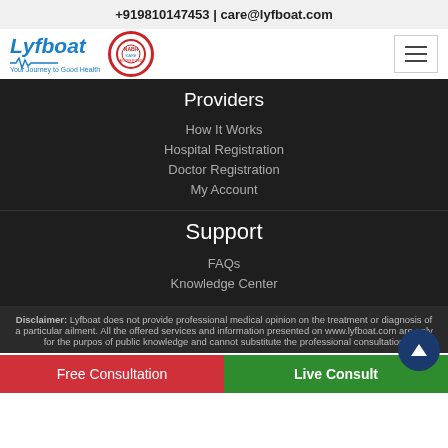+919810147453 | care@lyfboat.com
[Figure (logo): Lyfboat logo with tagline 'Your Journey to Good Health' and a circular NABH-style certification badge, plus hamburger menu icon]
Providers
How It Works
Hospital Registration
Doctor Registration
My Account
Support
FAQs
Knowledge Center
Disclaimer: Lyfboat does not provide professional medical opinion on the treatment or diagnosis of a particular ailment. All the offered services and information presented on www.lyfboat.com are only for the purpose of public knowledge and cannot substitute the professional consultation of
Free Consultation
Live Consult